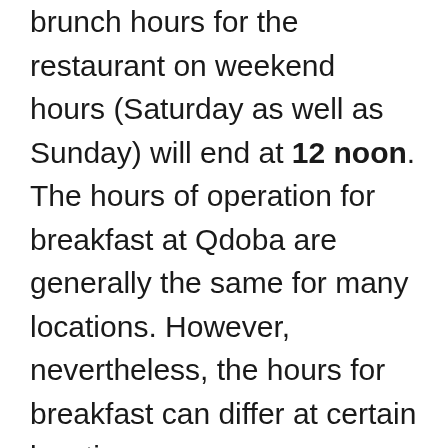brunch hours for the restaurant on weekend hours (Saturday as well as Sunday) will end at 12 noon. The hours of operation for breakfast at Qdoba are generally the same for many locations. However, nevertheless, the hours for breakfast can differ at certain locations.
Qdoba offers more than 700 locations in a variety of countries in both and United States and Canada, therefore we recommend you look up the nearest one using Qdoba restaurant locator and then